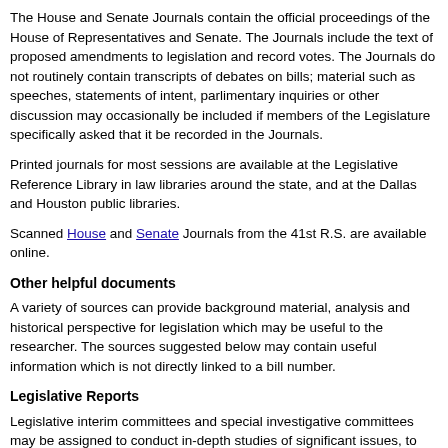The House and Senate Journals contain the official proceedings of the House of Representatives and Senate. The Journals include the text of proposed amendments to legislation and record votes. The Journals do not routinely contain transcripts of debates on bills; material such as speeches, statements of intent, parlimentary inquiries or other discussion may occasionally be included if members of the Legislature specifically asked that it be recorded in the Journals.
Printed journals for most sessions are available at the Legislative Reference Library in law libraries around the state, and at the Dallas and Houston public libraries.
Scanned House and Senate Journals from the 41st R.S. are available online.
Other helpful documents
A variety of sources can provide background material, analysis and historical perspective for legislation which may be useful to the researcher. The sources suggested below may contain useful information which is not directly linked to a bill number.
Legislative Reports
Legislative interim committees and special investigative committees may be assigned to conduct in-depth studies of significant issues, to review the effectiveness of new legislation, and to develop legislative proposals for upcoming sessions.
Search the Legislative Reports database by subject or keyword for related reports.